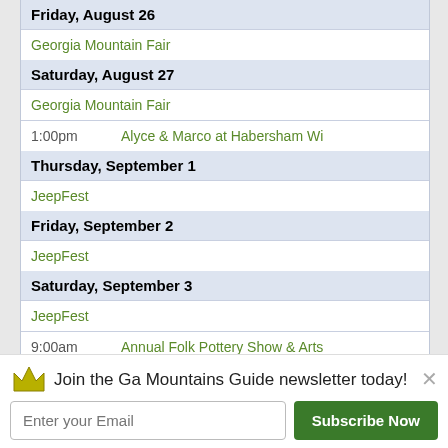| Date/Event | Time | Name |
| --- | --- | --- |
| Friday, August 26 |  |  |
|  |  | Georgia Mountain Fair |
| Saturday, August 27 |  |  |
|  |  | Georgia Mountain Fair |
|  | 1:00pm | Alyce & Marco at Habersham Wi |
| Thursday, September 1 |  |  |
|  |  | JeepFest |
| Friday, September 2 |  |  |
|  |  | JeepFest |
| Saturday, September 3 |  |  |
|  |  | JeepFest |
|  | 9:00am | Annual Folk Pottery Show & Arts |
|  | 11:00am | Annual Grape Stomp Festival |
| Sunday, September 4 |  |  |
|  |  | JeepFest |
[Figure (logo): Add to Google Calendar button]
Join the Ga Mountains Guide newsletter today!
Enter your Email
Subscribe Now